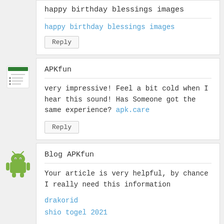happy birthday blessings images
happy birthday blessings images
Reply
APKfun
very impressive! Feel a bit cold when I hear this sound! Has Someone got the same experience? apk.care
Reply
Blog APKfun
Your article is very helpful, by chance I really need this information
drakorid
shio togel 2021
Reply